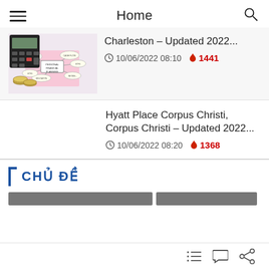Home
Charleston – Updated 2022...
10/06/2022 08:10  🔥 1441
Hyatt Place Corpus Christi, Corpus Christi – Updated 2022...
10/06/2022 08:20  🔥 1368
CHỦ ĐỀ